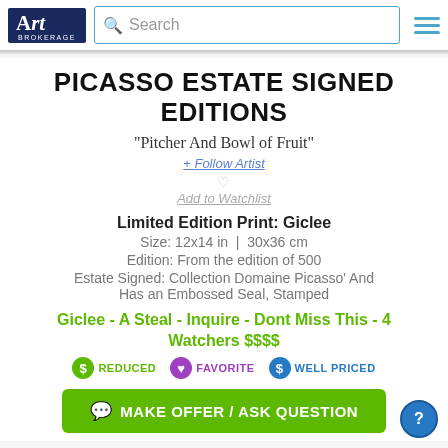Art Brokerage | Search
PICASSO ESTATE SIGNED EDITIONS
"Pitcher And Bowl of Fruit"
+ Follow Artist
Add to Watchlist
Limited Edition Print: Giclee
Size: 12x14 in  |  30x36 cm
Edition: From the edition of 500
Estate Signed: Collection Domaine Picasso' And Has an Embossed Seal, Stamped
Giclee - A Steal - Inquire - Dont Miss This - 4 Watchers $$$$
REDUCED  FAVORITE  WELL PRICED
MAKE OFFER / ASK QUESTION